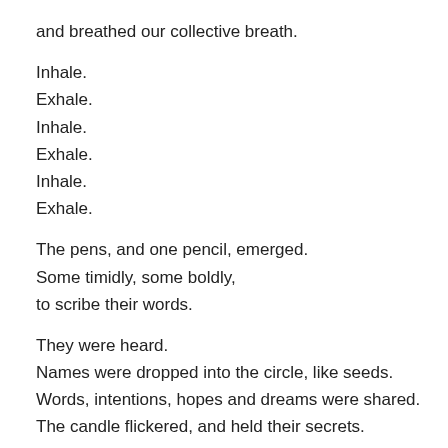and breathed our collective breath.
Inhale.
Exhale.
Inhale.
Exhale.
Inhale.
Exhale.
The pens, and one pencil, emerged.
Some timidly, some boldly,
to scribe their words.
They were heard.
Names were dropped into the circle, like seeds.
Words, intentions, hopes and dreams were shared.
The candle flickered, and held their secrets.